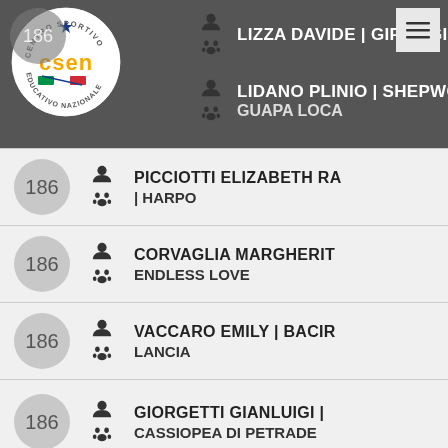[Figure (logo): CSEN Centro Sportivo Educativo Nazionale circular logo with star and Italian flag colors]
LIZZA DAVIDE | GIPSY GI
LIDANO PLINIO | SHEPWO... GUAPA LOCA
PICCIOTTI ELIZABETH RA... | HARPO
CORVAGLIA MARGHERIT... ENDLESS LOVE
VACCARO EMILY | BACIR... LANCIA
GIORGETTI GIANLUIGI | CASSIOPEA DI PETRADE
186 (partial entry at bottom)